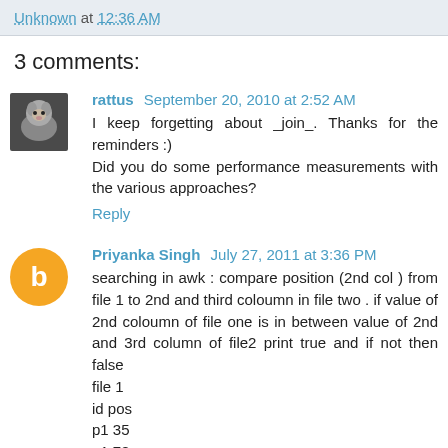Unknown at 12:36 AM
3 comments:
rattus  September 20, 2010 at 2:52 AM
I keep forgetting about _join_. Thanks for the reminders :) Did you do some performance measurements with the various approaches?
Reply
Priyanka Singh  July 27, 2011 at 3:36 PM
searching in awk : compare position (2nd col ) from file 1 to 2nd and third coloumn in file two . if value of 2nd coloumn of file one is in between value of 2nd and 3rd column of file2 print true and if not then false
file 1
id pos
p1 35
p1 78